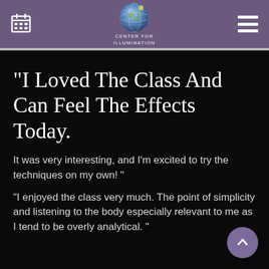CENTER FOR ILLUMINATION
"I Loved The Class And Can Feel The Effects Today.
It was very interesting, and I'm excited to try the techniques on my own! "
"I enjoyed the class very much. The point of simplicity and listening to the body especially relevant to me as I tend to be overly analytical. "